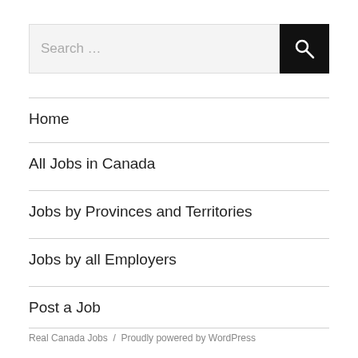Search …
Home
All Jobs in Canada
Jobs by Provinces and Territories
Jobs by all Employers
Post a Job
Real Canada Jobs / Proudly powered by WordPress